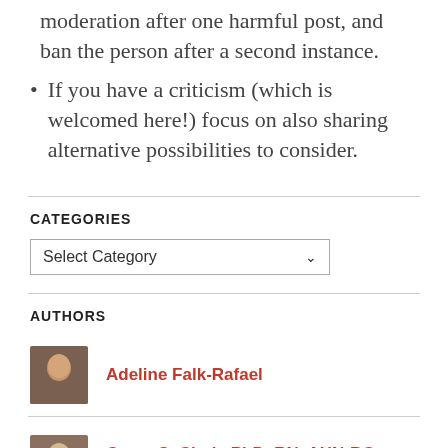moderation after one harmful post, and ban the person after a second instance.
If you have a criticism (which is welcomed here!) focus on also sharing alternative possibilities to consider.
CATEGORIES
Select Category
AUTHORS
Adeline Falk-Rafael
Carey S. Clark, PhD, RN, AHN-BC, RYT, FAAN